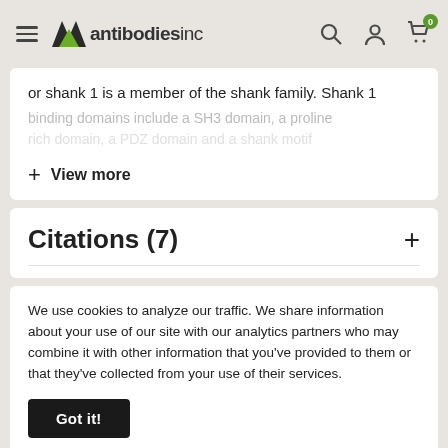antibodies inc
or shank 1 is a member of the shank family. Shank 1 binding domains include a SH3 domain, a proline rich domain, a PDZ domain and a shank motif
+ View more
Citations (7)
We use cookies to analyze our traffic. We share information about your use of our site with our analytics partners who may combine it with other information that you've provided to them or that they've collected from your use of their services.
Got it!